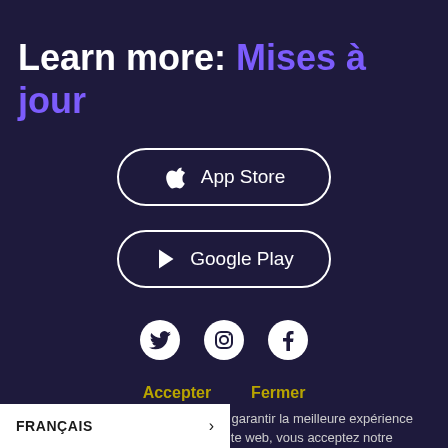Learn more: Mises à jour
[Figure (other): App Store button with Apple logo icon]
[Figure (other): Google Play button with play triangle icon]
[Figure (other): Social media icons: Twitter, Instagram, Facebook]
Accepter   Fermer
Nous utilisons des cookies pour vous garantir la meilleure expérience possible. En continuant à utiliser ce site web, vous acceptez notre Politique de confidentialité.
FRANÇAIS >